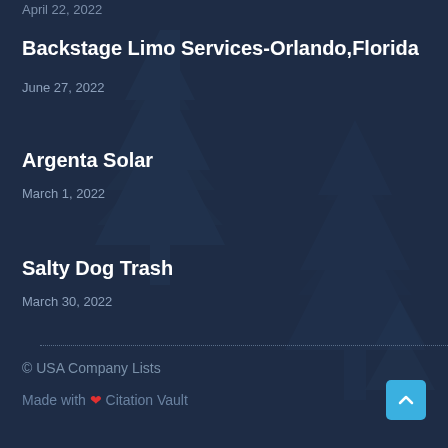April 22, 2022
Backstage Limo Services-Orlando,Florida
June 27, 2022
Argenta Solar
March 1, 2022
Salty Dog Trash
March 30, 2022
© USA Company Lists
Made with ❤ Citation Vault